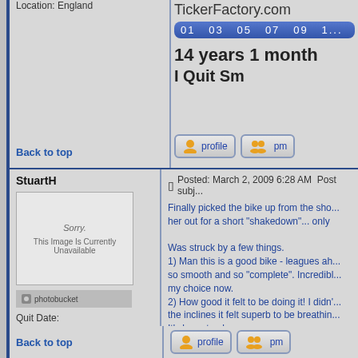Location: England
[Figure (screenshot): TickerFactory.com quit smoking ticker showing 14 years 1 month, I Quit Smoking, with progress bar showing values 01 03 05 07 09 1...]
Back to top
StuartH
Posted: March 2, 2009 6:28 AM   Post subj...
[Figure (photo): Image unavailable placeholder from Photobucket]
Quit Date:
September 12, 2008

Posts: 105
Location: Cromer, Norfolk - UK
Finally picked the bike up from the sho... her out for a short "shakedown"... only

Was struck by a few things.
1) Man this is a good bike - leagues ah... so smooth and so "complete". Incredibl... my choice now.
2) How good it felt to be doing it! I didn'... the inclines it felt superb to be breathin... It's been too long.
3) That it really is "like riding a bike"....

enjoy this 😊

I hope your grading goes well Nic, I rem... Judo days.... lots of fun, but hard work

___________________

Totally tobacco free - Cannot guarantee...
Back to top